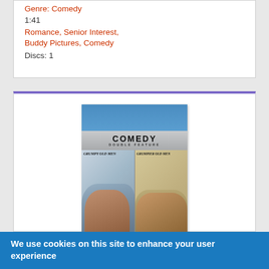Genre: Comedy
1:41
Romance, Senior Interest, Buddy Pictures, Comedy
Discs: 1
[Figure (photo): Movie DVD cover for Comedy Double Feature including Grumpy Old Men and Grumpier Old Men]
We use cookies on this site to enhance your user experience